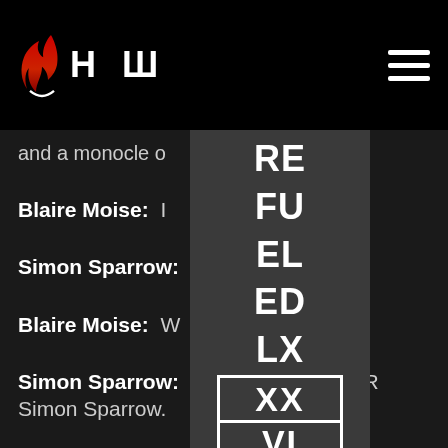HCW logo and navigation header bar
and a monocle o... it eye.
Blaire Moise: I... ith Jatt Starr--
Simon Sparrow: ... ren't.
Blaire Moise: W...
Simon Sparrow: ... Sparrow.  SIR Simon Sparrow.
[Figure (screenshot): Dropdown navigation menu overlay showing: RE FU EL ED LX text in large bold white, then a bordered box with XX above a line and VI below, then EVENT DATE: FEBRUARY text]
Blaire Moise: I'... rce of habit